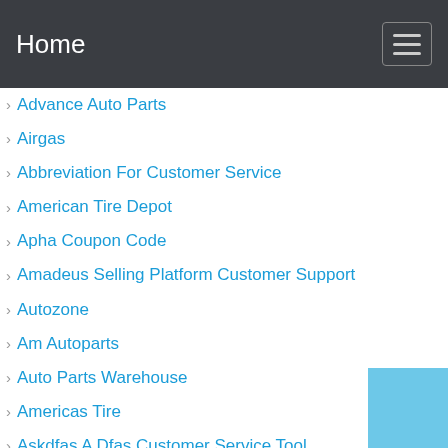Home
Advance Auto Parts
Airgas
Abbreviation For Customer Service
American Tire Depot
Apha Coupon Code
Amadeus Selling Platform Customer Support
Autozone
Am Autoparts
Auto Parts Warehouse
Americas Tire
Askdfas A Dfas Customer Service Tool
Auto Vox Customer Service
[Figure (other): Blue square decorative element in bottom-right corner]